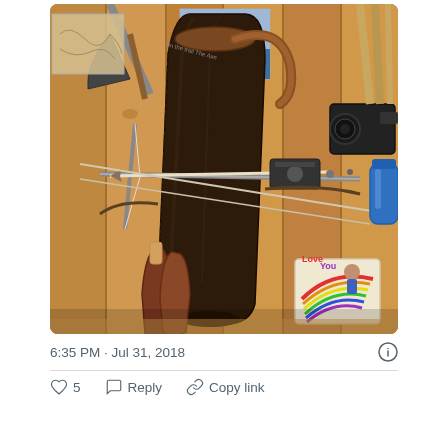[Figure (photo): Photo of a dark brown leather arrow quiver hanging in front of a wooden wall. In the background, an axe, a crossbow, arrows, paintings, and other items are visible. A rainbow sticker with a person is in the lower right corner.]
6:35 PM · Jul 31, 2018
♡ 5   Reply   Copy link